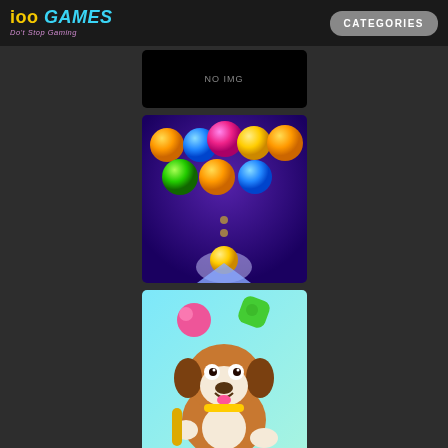ioo GAMES - Do't Stop Gaming | CATEGORIES
[Figure (screenshot): Black placeholder image with 'NO IMG' text]
[Figure (screenshot): Bubble shooter game thumbnail: colorful balls (orange, blue, pink, yellow, green) arranged in triangle on purple background with shooter at bottom]
[Figure (screenshot): Puppy/dog match game thumbnail: cartoon brown and white puppy holding candy items on light blue background]
[Figure (screenshot): Fruit match game thumbnail: colorful fruits and flowers on golden/sandy background (partially visible)]